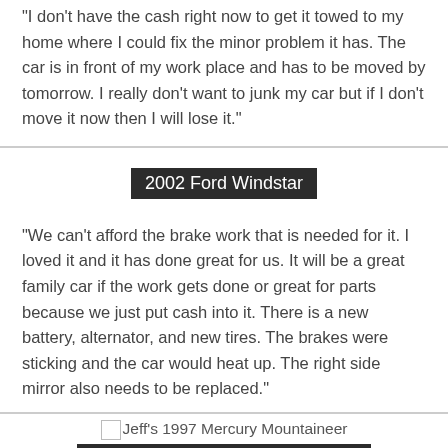"I don't have the cash right now to get it towed to my home where I could fix the minor problem it has. The car is in front of my work place and has to be moved by tomorrow. I really don't want to junk my car but if I don't move it now then I will lose it."
2002 Ford Windstar
"We can't afford the brake work that is needed for it. I loved it and it has done great for us. It will be a great family car if the work gets done or great for parts because we just put cash into it. There is a new battery, alternator, and new tires. The brakes were sticking and the car would heat up. The right side mirror also needs to be replaced."
[Figure (photo): Jeff's 1997 Mercury Mountaineer thumbnail image placeholder]
1997 Mercury Mountaineer
...